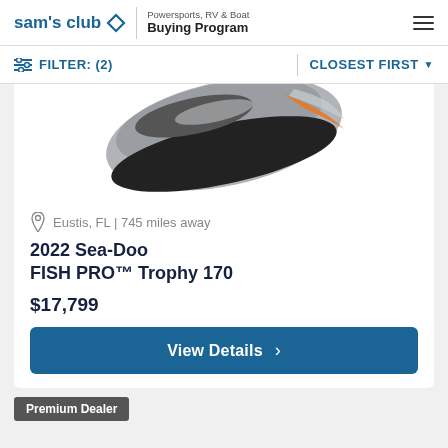sam's club ◇ | Powersports, RV & Boat Buying Program
FILTER: (2)  CLOSEST FIRST
[Figure (photo): Partial view of a Sea-Doo personal watercraft (jet ski) in gray and orange color, photographed from above at an angle on a white background]
Eustis, FL | 745 miles away
2022 Sea-Doo FISH PRO™ Trophy 170
$17,799
View Details
Premium Dealer